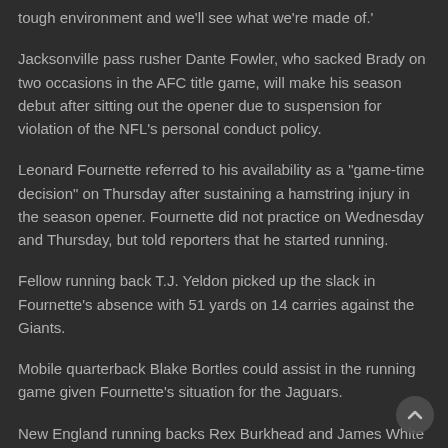tough environment and we'll see what we're made of.'
Jacksonville pass rusher Dante Fowler, who sacked Brady on two occasions in the AFC title game, will make his season debut after sitting out the opener due to suspension for violation of the NFL's personal conduct policy.
Leonard Fournette referred to his availability as a "game-time decision" on Thursday after sustaining a hamstring injury in the season opener. Fournette did not practice on Wednesday and Thursday, but told reporters that he started running.
Fellow running back T.J. Yeldon picked up the slack in Fournette's absence with 51 yards on 14 carries against the Giants.
Mobile quarterback Blake Bortles could assist in the running game given Fournette's situation for the Jaguars.
New England running backs Rex Burkhead and James White were menacing out of the backfield on Sunday, with the former leading the team with 64 rushing yards while the latter reeled in a touchdown reception. Burkhead, however, remains in concussion protocol and leaves the Patriots painfully thin in the backfield.